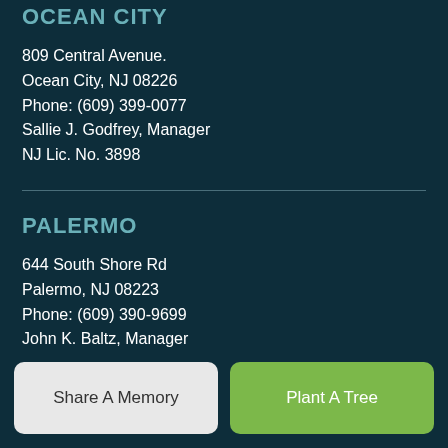OCEAN CITY
809 Central Avenue.
Ocean City, NJ 08226
Phone: (609) 399-0077
Sallie J. Godfrey, Manager
NJ Lic. No. 3898
PALERMO
644 South Shore Rd
Palermo, NJ 08223
Phone: (609) 390-9699
John K. Baltz, Manager
NJ Lic No. 3715
EGG HARBOR
Share A Memory
Plant A Tree